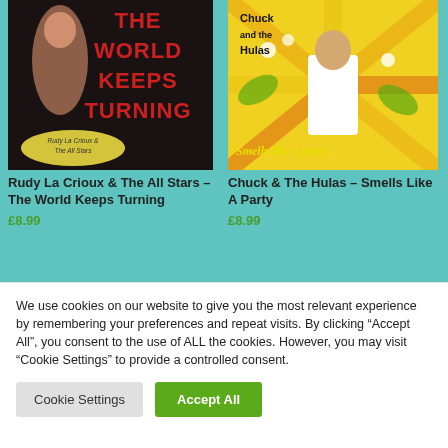[Figure (photo): Album cover for 'Rudy La Crioux & The All Stars – The World Keeps Turning'. Dark background with pin-up style woman and large red text 'THE WORLD KEEPS TURNING'. Oval label at bottom: 'Rudy La Crioux & The All Stars'.]
[Figure (photo): Album cover for 'Chuck & The Hulas – Smells Like A Party'. Colorful tropical background with flowers and sunbursts. Man in white chef outfit. Text: 'Chuck and The Hulas' and 'Smells like a party!']
Rudy La Crioux & The All Stars – The World Keeps Turning
£8.99
Chuck & The Hulas – Smells Like A Party
£8.99
We use cookies on our website to give you the most relevant experience by remembering your preferences and repeat visits. By clicking "Accept All", you consent to the use of ALL the cookies. However, you may visit "Cookie Settings" to provide a controlled consent.